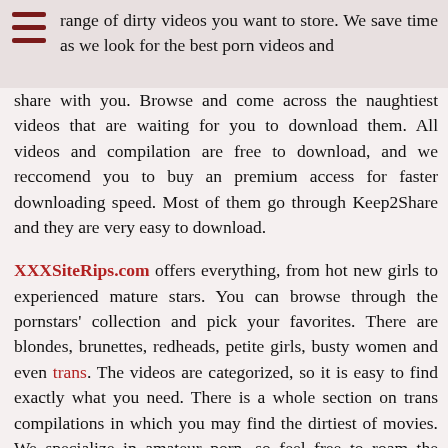range of dirty videos you want to store. We save time as we look for the best porn videos and share with you. Browse and come across the naughtiest videos that are waiting for you to download them. All videos and compilation are free to download, and we reccomend you to buy an premium access for faster downloading speed. Most of them go through Keep2Share and they are very easy to download.
XXXSiteRips.com offers everything, from hot new girls to experienced mature stars. You can browse through the pornstars' collection and pick your favorites. There are blondes, brunettes, redheads, petite girls, busty women and even trans. The videos are categorized, so it is easy to find exactly what you need. There is a whole section on trans compilations in which you may find the dirtiest of movies. We specialize in amateur porn, so feel free to roam the MyDirtyHobby halls of guilty pleasures.